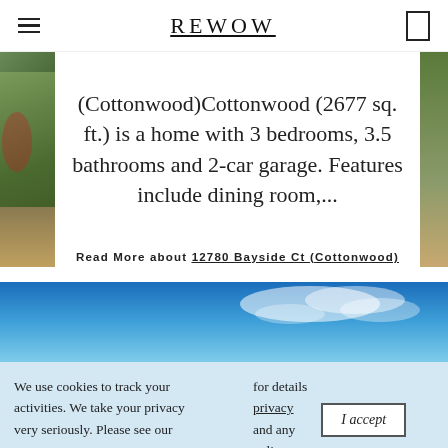REWOW
(Cottonwood)Cottonwood (2677 sq. ft.) is a home with 3 bedrooms, 3.5 bathrooms and 2-car garage. Features include dining room,...
Read More about 12780 Bayside Ct (Cottonwood)
[Figure (photo): Blue sky with clouds background]
We use cookies to track your activities. We take your privacy very seriously. Please see our for details privacy and any policy. questions.